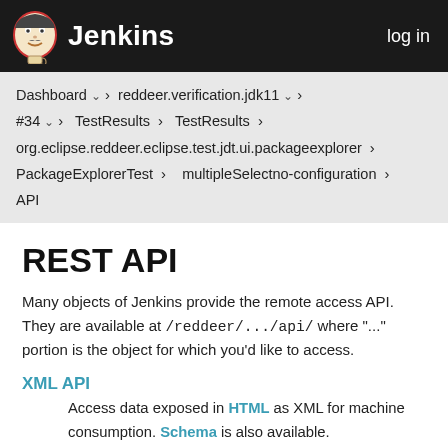Jenkins  log in
Dashboard > reddeer.verification.jdk11 > #34 > Test Results > Test Results > org.eclipse.reddeer.eclipse.test.jdt.ui.packageexplorer > PackageExplorerTest > multipleSelectno-configuration > API
REST API
Many objects of Jenkins provide the remote access API. They are available at /reddeer/.../api/ where "..." portion is the object for which you'd like to access.
XML API
Access data exposed in HTML as XML for machine consumption. Schema is also available.